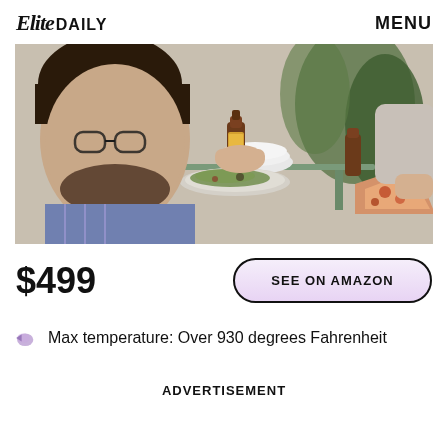Elite DAILY   MENU
[Figure (photo): Two people eating at an outdoor table. One person (left, bearded, glasses) holds a brown bottle of hot sauce. White bowls and a plate of salad are on the glass table. Another person (right) holds a slice of pizza. Green plants in background.]
$499
SEE ON AMAZON
Max temperature: Over 930 degrees Fahrenheit
ADVERTISEMENT